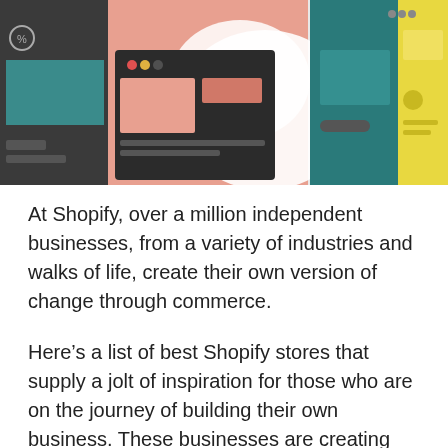[Figure (illustration): Colorful illustration of multiple browser windows and UI elements in pink, teal, dark gray, and yellow tones, showing abstract web store interfaces arranged in an overlapping collage style.]
At Shopify, over a million independent businesses, from a variety of industries and walks of life, create their own version of change through commerce.
Here’s a list of best Shopify stores that supply a jolt of inspiration for those who are on the journey of building their own business. These businesses are creating change by turning